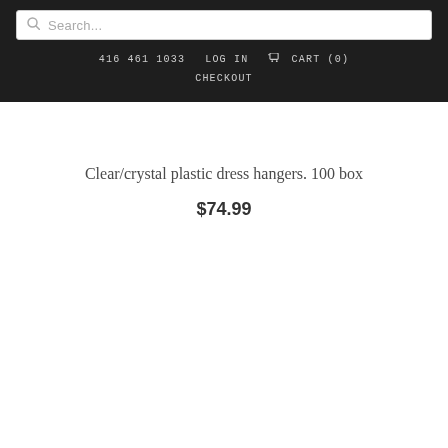Search...
416 461 1033  LOG IN  CART (0)  CHECKOUT
Clear/crystal plastic dress hangers. 100 box
$74.99